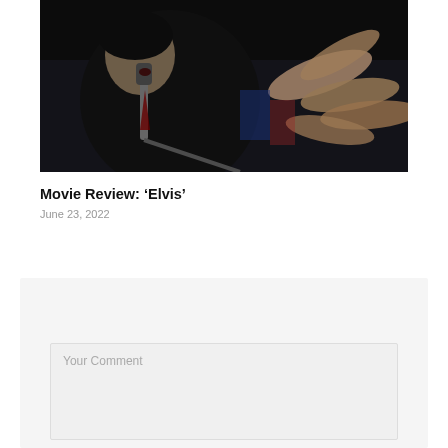[Figure (photo): A performer singing into a microphone on stage with fans reaching out their hands toward the performer. Dark background with crowd visible.]
Movie Review: ‘Elvis’
June 23, 2022
LEAVE A REPLY
Your Comment